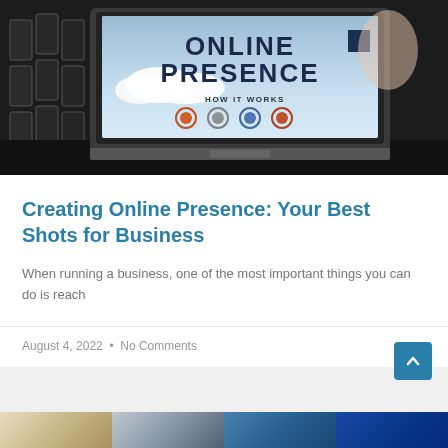[Figure (photo): Laptop computer with 'ONLINE PRESENCE / HOW IT WORKS' displayed on screen, dark background with domino-like objects on left]
Creating Online Presence: Your Best Shots for Business
When running a business, one of the most important things you can do is reach
August 4, 2022  •  No Comments
[Figure (photo): Four thumbnail images at the bottom of the page in a strip]